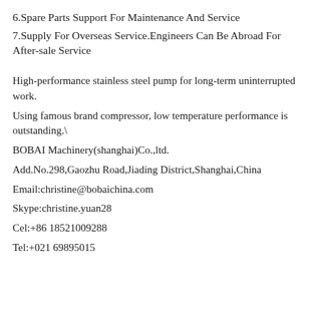6.Spare Parts Support For Maintenance And Service
7.Supply For Overseas Service.Engineers Can Be Abroad For After-sale Service
High-performance stainless steel pump for long-term uninterrupted work.
Using famous brand compressor, low temperature performance is outstanding.\
BOBAI Machinery(shanghai)Co.,ltd.
Add.No.298,Gaozhu Road,Jiading District,Shanghai,China
Email:christine@bobaichina.com
Skype:christine.yuan28
Cel:+86 18521009288
Tel:+021 69895015